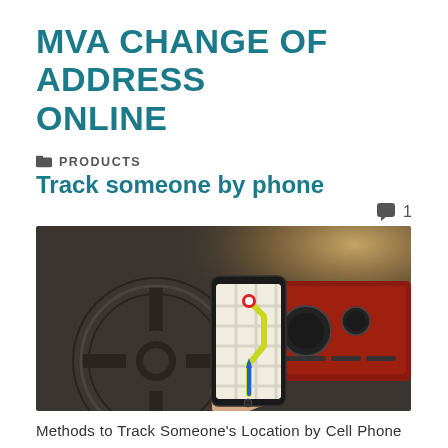MVA CHANGE OF ADDRESS ONLINE
PRODUCTS
Track someone by phone
[Figure (photo): A hand holding a smartphone with a navigation map app open showing a route, with a car interior (steering wheel and dashboard) visible in the background.]
Methods to Track Someone's Location by Cell Phone Number. How to Track Someone's Phone for Free by Their Number Apple or Google Maps, allowing users to. The